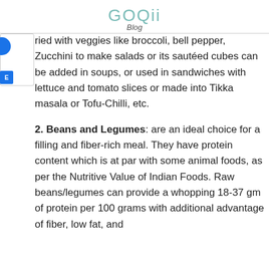GOQii Blog
ried with veggies like broccoli, bell pepper, Zucchini to make salads or its sautéed cubes can be added in soups, or used in sandwiches with lettuce and tomato slices or made into Tikka masala or Tofu-Chilli, etc.
2. Beans and Legumes: are an ideal choice for a filling and fiber-rich meal. They have protein content which is at par with some animal foods, as per the Nutritive Value of Indian Foods. Raw beans/legumes can provide a whopping 18-37 gm of protein per 100 grams with additional advantage of fiber, low fat, and...